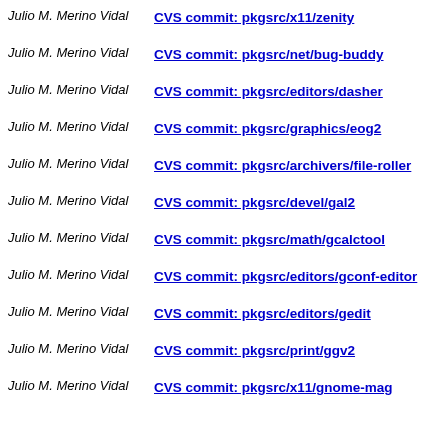Julio M. Merino Vidal | CVS commit: pkgsrc/x11/zenity
Julio M. Merino Vidal | CVS commit: pkgsrc/net/bug-buddy
Julio M. Merino Vidal | CVS commit: pkgsrc/editors/dasher
Julio M. Merino Vidal | CVS commit: pkgsrc/graphics/eog2
Julio M. Merino Vidal | CVS commit: pkgsrc/archivers/file-roller
Julio M. Merino Vidal | CVS commit: pkgsrc/devel/gal2
Julio M. Merino Vidal | CVS commit: pkgsrc/math/gcalctool
Julio M. Merino Vidal | CVS commit: pkgsrc/editors/gconf-editor
Julio M. Merino Vidal | CVS commit: pkgsrc/editors/gedit
Julio M. Merino Vidal | CVS commit: pkgsrc/print/ggv2
Julio M. Merino Vidal | CVS commit: pkgsrc/x11/gnome-mag